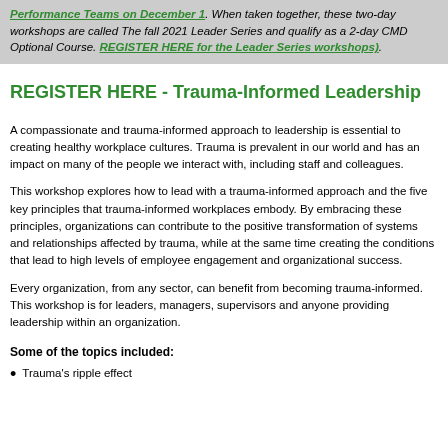Performance Teams on December 1. When taken together, these two-day workshops are called The fall 2021 Leader Series and qualify as a 2-day CMD Optional Course. REGISTER HERE for the Leader Series workshops).
REGISTER HERE - Trauma-Informed Leadership
A compassionate and trauma-informed approach to leadership is essential to creating healthy workplace cultures. Trauma is prevalent in our world and has an impact on many of the people we interact with, including staff and colleagues.
This workshop explores how to lead with a trauma-informed approach and the five key principles that trauma-informed workplaces embody. By embracing these principles, organizations can contribute to the positive transformation of systems and relationships affected by trauma, while at the same time creating the conditions that lead to high levels of employee engagement and organizational success.
Every organization, from any sector, can benefit from becoming trauma-informed. This workshop is for leaders, managers, supervisors and anyone providing leadership within an organization.
Some of the topics included:
Trauma's ripple effect